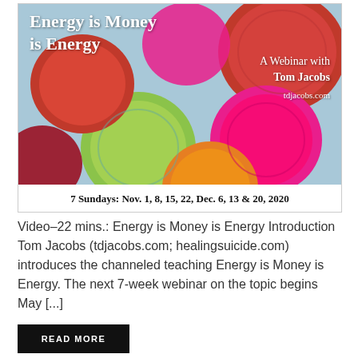[Figure (illustration): Webinar promotional image showing colorful candy/gummy coins (red, pink, yellow-green, orange) with white text overlay reading 'Energy is Money is Energy' and 'A Webinar with Tom Jacobs tdjacobs.com', plus date line '7 Sundays: Nov. 1, 8, 15, 22, Dec. 6, 13 & 20, 2020']
Video–22 mins.: Energy is Money is Energy Introduction Tom Jacobs (tdjacobs.com; healingsuicide.com) introduces the channeled teaching Energy is Money is Energy. The next 7-week webinar on the topic begins May [...]
READ MORE